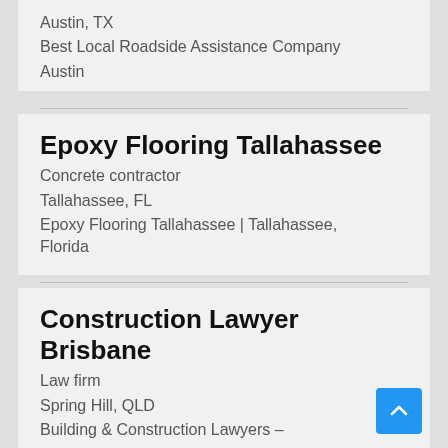Austin, TX
Best Local Roadside Assistance Company
Austin
Epoxy Flooring Tallahassee
Concrete contractor
Tallahassee, FL
Epoxy Flooring Tallahassee | Tallahassee, Florida
Construction Lawyer Brisbane
Law firm
Spring Hill, QLD
Building & Construction Lawyers –